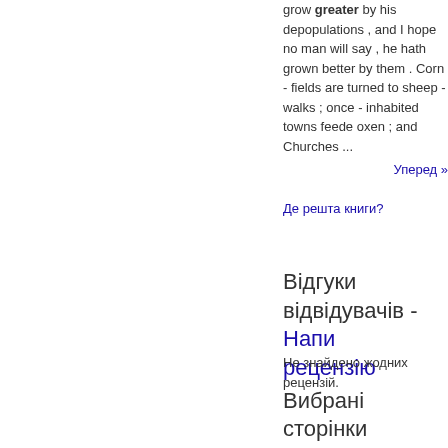grow greater by his depopulations , and I hope no man will say , he hath grown better by them . Corn - fields are turned to sheep - walks ; once - inhabited towns feede oxen ; and Churches ...
Уперед »
Де решта книги?
Відгуки відвідувачів - Написати рецензію
Не знайдено жодних рецензій.
Вибрані сторінки